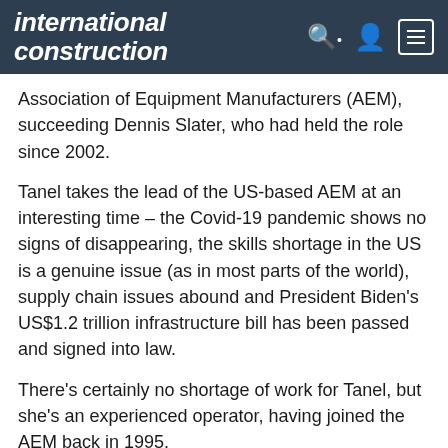international construction
Association of Equipment Manufacturers (AEM), succeeding Dennis Slater, who had held the role since 2002.
Tanel takes the lead of the US-based AEM at an interesting time – the Covid-19 pandemic shows no signs of disappearing, the skills shortage in the US is a genuine issue (as in most parts of the world), supply chain issues abound and President Biden’s US$1.2 trillion infrastructure bill has been passed and signed into law.
There’s certainly no shortage of work for Tanel, but she’s an experienced operator, having joined the AEM back in 1995.
Construction and Covid